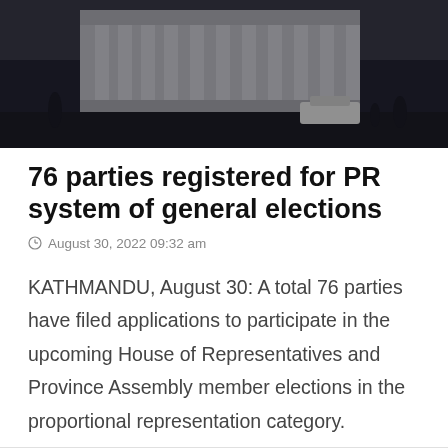[Figure (photo): Black and white photograph of a large government building with columns, people and vehicles visible in front]
76 parties registered for PR system of general elections
August 30, 2022 09:32 am
KATHMANDU, August 30: A total 76 parties have filed applications to participate in the upcoming House of Representatives and Province Assembly member elections in the proportional representation category.